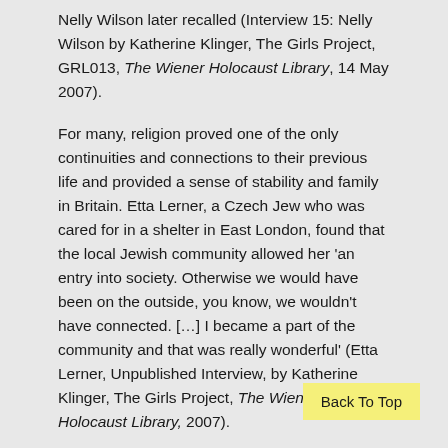Nelly Wilson later recalled (Interview 15: Nelly Wilson by Katherine Klinger, The Girls Project, GRL013, The Wiener Holocaust Library, 14 May 2007).
For many, religion proved one of the only continuities and connections to their previous life and provided a sense of stability and family in Britain. Etta Lerner, a Czech Jew who was cared for in a shelter in East London, found that the local Jewish community allowed her 'an entry into society. Otherwise we would have been on the outside, you know, we wouldn't have connected. [...] I became a part of the community and that was really wonderful' (Etta Lerner, Unpublished Interview, by Katherine Klinger, The Girls Project, The Wiener Holocaust Library, 2007).
Within the Jewish community, the children on the scheme were viewed as symbols of hope and especially in light of the trauma of the Holocaust as such were subjected to significant influence by the